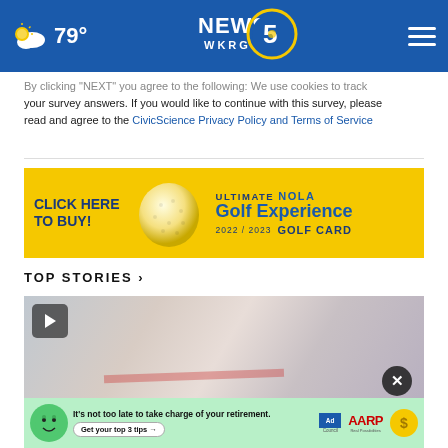WKRG NEWS 5 | 79°
By clicking "NEXT" you agree to the following: We use cookies to track your survey answers. If you would like to continue with this survey, please read and agree to the CivicScience Privacy Policy and Terms of Service
[Figure (infographic): Advertisement banner: CLICK HERE TO BUY! ULTIMATE NOLA Golf Experience 2022/2023 GOLF CARD, yellow background with golf ball image]
TOP STORIES »
[Figure (screenshot): Video thumbnail showing sports/mascot scene with play button overlay, and overlaid AARP advertisement: It's not too late to take charge of your retirement. Get your top 3 tips. Ad Council and AARP branding with close button.]